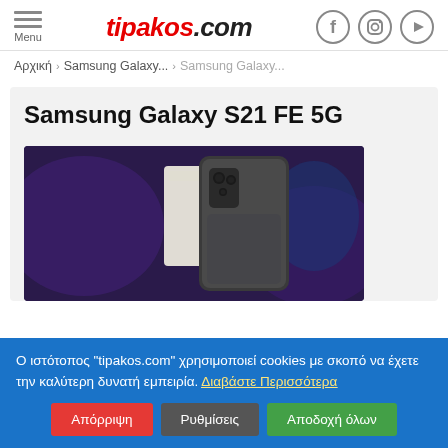tipakos.com
Αρχική › Samsung Galaxy... › Samsung Galaxy...
Samsung Galaxy S21 FE 5G
[Figure (photo): Samsung Galaxy S21 FE 5G smartphone shown from the back, placed next to its box, with a colorful background.]
Ο ιστότοπος "tipakos.com" χρησιμοποιεί cookies με σκοπό να έχετε την καλύτερη δυνατή εμπειρία. Διαβάστε Περισσότερα